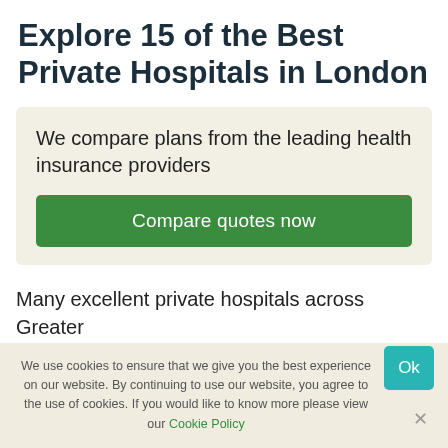Explore 15 of the Best Private Hospitals in London
We compare plans from the leading health insurance providers
Compare quotes now
Many excellent private hospitals across Greater
We use cookies to ensure that we give you the best experience on our website. By continuing to use our website, you agree to the use of cookies. If you would like to know more please view our Cookie Policy